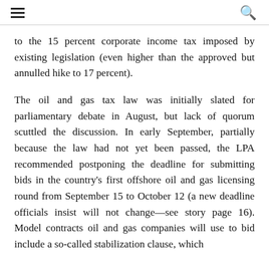≡   🔍
to the 15 percent corporate income tax imposed by existing legislation (even higher than the approved but annulled hike to 17 percent).
The oil and gas tax law was initially slated for parliamentary debate in August, but lack of quorum scuttled the discussion. In early September, partially because the law had not yet been passed, the LPA recommended postponing the deadline for submitting bids in the country's first offshore oil and gas licensing round from September 15 to October 12 (a new deadline officials insist will not change—see story page 16). Model contracts oil and gas companies will use to bid include a so-called stabilization clause, which